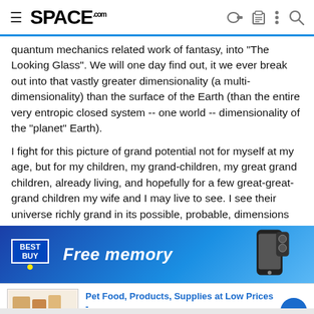SPACE.com
quantum mechanics related work of fantasy, into "The Looking Glass". We will one day find out, it we ever break out into that vastly greater dimensionality (a multi-dimensionality) than the surface of the Earth (than the entire very entropic closed system -- one world -- dimensionality of the "planet" Earth).
I fight for this picture of grand potential not for myself at my age, but for my children, my grand-children, my great grand children, already living, and hopefully for a few great-great-grand children my wife and I may live to see. I see their universe richly grand in its possible, probable, dimensions and potential possibilities for them. In just seeing it for them, I suppose I see it for my wife and myself too while
[Figure (screenshot): Best Buy advertisement banner showing 'Free memory' text with a smartphone image]
[Figure (screenshot): Chewy.com advertisement: 'Pet Food, Products, Supplies at Low Prices - Pay the lowest prices on pet supplies at Chewy.com']